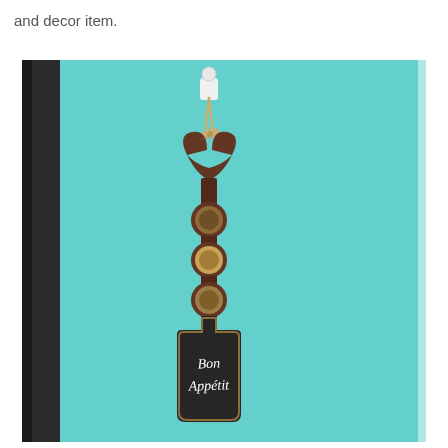and decor item.
[Figure (photo): A decorative wooden spoon/spatula with a heart-shaped top, hanging on a teal/turquoise wall. The handle has three circular embossed disc decorations. The paddle portion is dark (chalkboard-style) with 'Bon Appetit' written in white cursive script. The item is hung with a twine/rope loop on a white wall hook.]